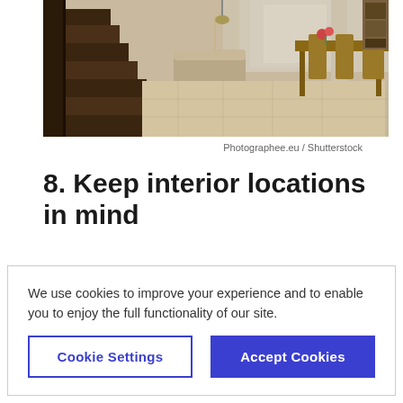[Figure (photo): Interior photo of a modern home showing wooden staircase on the left, a living area in the background with a sofa and large window with curtains, and a wooden dining table with chairs on the right.]
Photographee.eu / Shutterstock
8. Keep interior locations in mind
While you can change your floor plan in the
We use cookies to improve your experience and to enable you to enjoy the full functionality of our site.